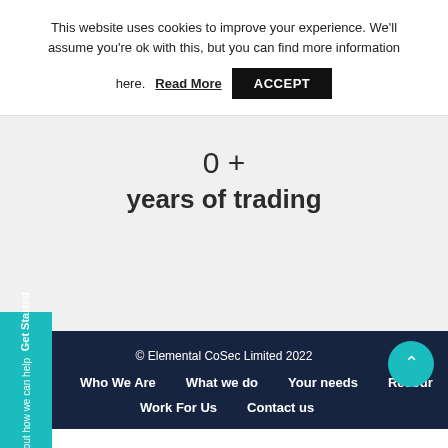This website uses cookies to improve your experience. We'll assume you're ok with this, but you can find more information here. Read More  ACCEPT
0 +
years of trading
© Elemental CoSec Limited 2022
Who We Are   What we do   Your needs   Resources   Work For Us   Contact us
Get Started
find out how we can help